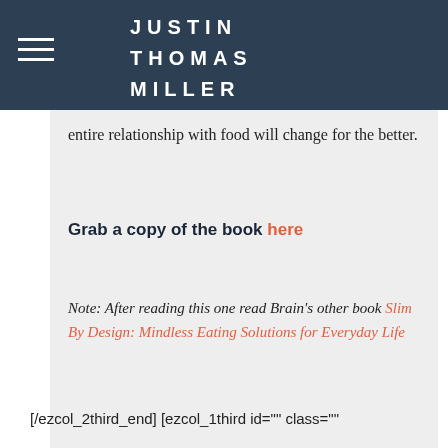JUSTIN THOMAS MILLER
entire relationship with food will change for the better.
Grab a copy of the book here
Note: After reading this one read Brain's other book Slim By Design: Mindless Eating Solutions for Everyday Life
[/ezcol_2third_end] [ezcol_1third id="" class=""